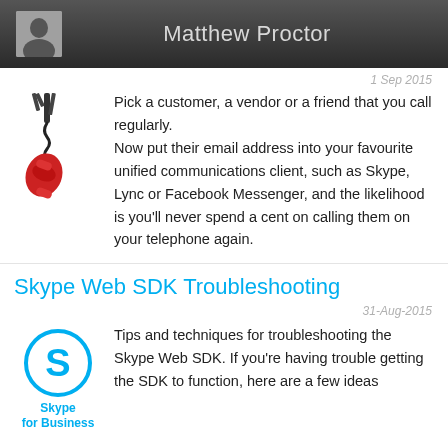Matthew Proctor
1 Sep 2015
Pick a customer, a vendor or a friend that you call regularly.
Now put their email address into your favourite unified communications client, such as Skype, Lync or Facebook Messenger, and the likelihood is you'll never spend a cent on calling them on your telephone again.
Skype Web SDK Troubleshooting
31-Aug-2015
Tips and techniques for troubleshooting the Skype Web SDK. If you're having trouble getting the SDK to function, here are a few ideas